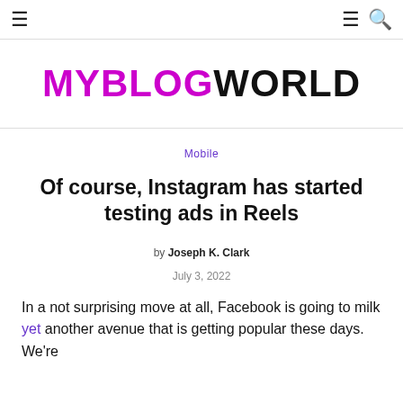≡  ≡ 🔍
MYBLOGWORLD
Mobile
Of course, Instagram has started testing ads in Reels
by Joseph K. Clark
July 3, 2022
In a not surprising move at all, Facebook is going to milk yet another avenue that is getting popular these days. We're